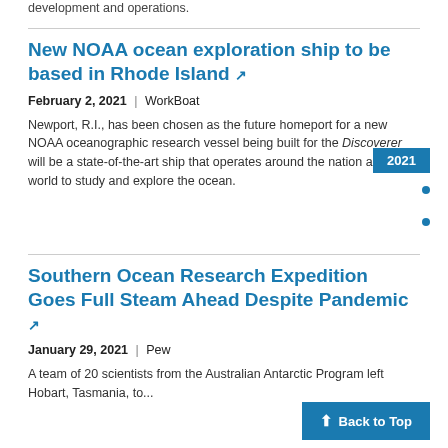development and operations.
New NOAA ocean exploration ship to be based in Rhode Island
February 2, 2021  |  WorkBoat
Newport, R.I., has been chosen as the future homeport for a new NOAA oceanographic research vessel being built for the Discoverer will be a state-of-the-art ship that operates around the nation and the world to study and explore the ocean.
Southern Ocean Research Expedition Goes Full Steam Ahead Despite Pandemic
January 29, 2021  |  Pew
A team of 20 scientists from the Australian Antarctic Program left Hobart, Tasmania, to...